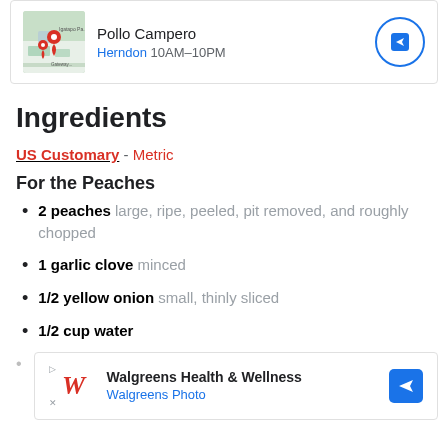[Figure (screenshot): Pollo Campero restaurant card with map thumbnail showing Herndon location, navigation arrow button. Hours: 10AM-10PM.]
Ingredients
US Customary - Metric
For the Peaches
2 peaches large, ripe, peeled, pit removed, and roughly chopped
1 garlic clove minced
1/2 yellow onion small, thinly sliced
1/2 cup water
[Figure (screenshot): Walgreens Health & Wellness advertisement card with Walgreens W logo and navigation arrow.]